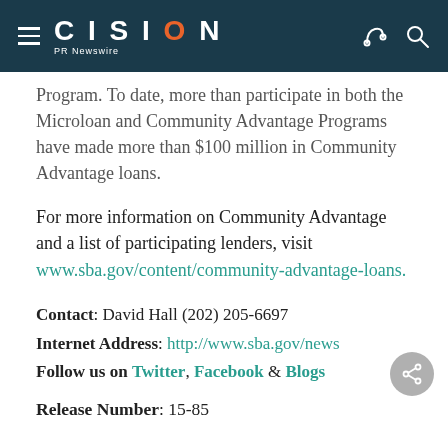CISION PR Newswire
Program. To date, more than participate in both the Microloan and Community Advantage Programs have made more than $100 million in Community Advantage loans.
For more information on Community Advantage and a list of participating lenders, visit www.sba.gov/content/community-advantage-loans.
Contact: David Hall (202) 205-6697
Internet Address: http://www.sba.gov/news
Follow us on Twitter, Facebook & Blogs
Release Number: 15-85